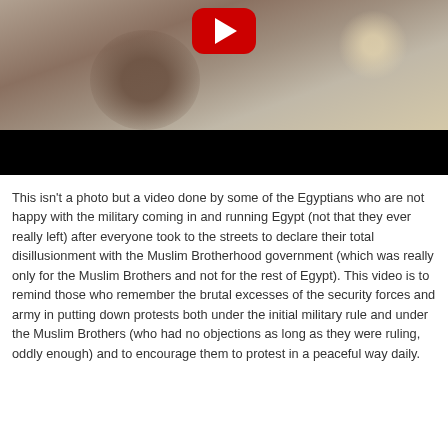[Figure (screenshot): A YouTube video thumbnail showing a blurry indoor scene with a person visible. The YouTube play button (red rounded rectangle with white triangle) is centered at the top of the video frame. The bottom portion of the video frame is black.]
This isn't a photo but a video done by some of the Egyptians who are not happy with the military coming in and running Egypt (not that they ever really left) after everyone took to the streets to declare their total disillusionment with the Muslim Brotherhood government (which was really only for the Muslim Brothers and not for the rest of Egypt). This video is to remind those who remember the brutal excesses of the security forces and army in putting down protests both under the initial military rule and under the Muslim Brothers (who had no objections as long as they were ruling, oddly enough) and to encourage them to protest in a peaceful way daily.